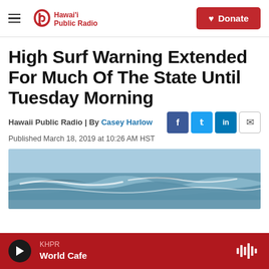Hawaii Public Radio — Donate
High Surf Warning Extended For Much Of The State Until Tuesday Morning
Hawaii Public Radio | By Casey Harlow
Published March 18, 2019 at 10:26 AM HST
[Figure (photo): Ocean photo showing large blue waves with white foam crests and blue sky]
KHPR World Cafe — player bar